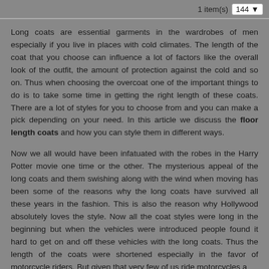1 item(s)  144
Long coats are essential garments in the wardrobes of men especially if you live in places with cold climates. The length of the coat that you choose can influence a lot of factors like the overall look of the outfit, the amount of protection against the cold and so on. Thus when choosing the overcoat one of the important things to do is to take some time in getting the right length of these coats. There are a lot of styles for you to choose from and you can make a pick depending on your need. In this article we discuss the floor length coats and how you can style them in different ways.
Now we all would have been infatuated with the robes in the Harry Potter movie one time or the other. The mysterious appeal of the long coats and them swishing along with the wind when moving has been some of the reasons why the long coats have survived all these years in the fashion. This is also the reason why Hollywood absolutely loves the style. Now all the coat styles were long in the beginning but when the vehicles were introduced people found it hard to get on and off these vehicles with the long coats. Thus the length of the coats were shortened especially in the favor of motorcycle riders. But given that very few of us ride motorcycles a...